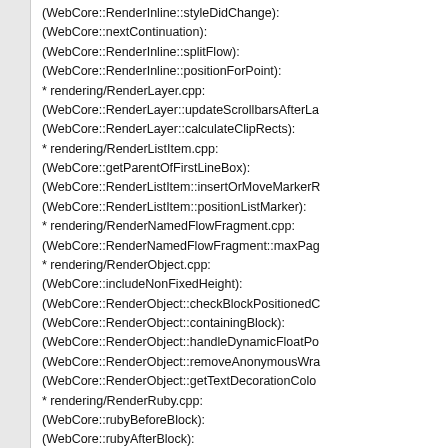(WebCore::RenderInline::styleDidChange):
(WebCore::nextContinuation):
(WebCore::RenderInline::splitFlow):
(WebCore::RenderInline::positionForPoint):
* rendering/RenderLayer.cpp:
(WebCore::RenderLayer::updateScrollbarsAfterLayout):
(WebCore::RenderLayer::calculateClipRects):
* rendering/RenderListItem.cpp:
(WebCore::getParentOfFirstLineBox):
(WebCore::RenderListItem::insertOrMoveMarkerRendererIfNeeded):
(WebCore::RenderListItem::positionListMarker):
* rendering/RenderNamedFlowFragment.cpp:
(WebCore::RenderNamedFlowFragment::maxPageLogicalHeight):
* rendering/RenderObject.cpp:
(WebCore::includeNonFixedHeight):
(WebCore::RenderObject::checkBlockPositionedObjectsNeedLayout):
(WebCore::RenderObject::containingBlock):
(WebCore::RenderObject::handleDynamicFloatPositionChange):
(WebCore::RenderObject::removeAnonymousWrappersIfRequired):
(WebCore::RenderObject::getTextDecorationColors):
* rendering/RenderRuby.cpp:
(WebCore::rubyBeforeBlock):
(WebCore::rubyAfterBlock):
* rendering/RenderRubyBase.cpp:
(WebCore::RenderRubyBase::moveInlineChildren):
(WebCore::RenderRubyBase::moveBlockChildren):
* rendering/RenderThemeMac.mm:
(WebCore::RenderThemeMac::paintSnapshottedPluginOverlay):
* rendering/TextAutosizer.cpp:
(WebCore::TextAutosizer::processSubtree):